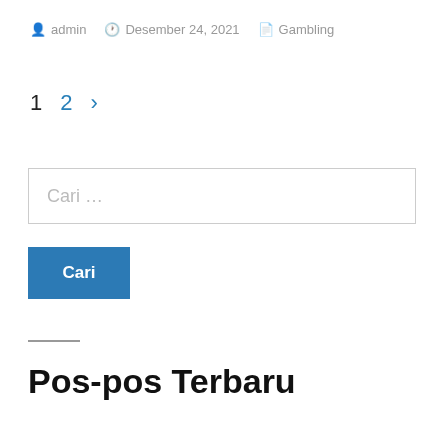admin  Desember 24, 2021  Gambling
1  2  >
Cari …
Cari
Pos-pos Terbaru